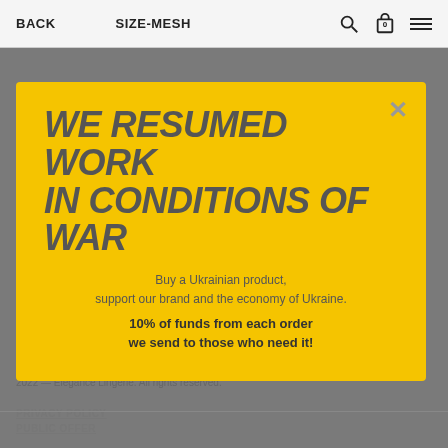BACK   SIZE-MESH
INFORMATION
ABOUT
CATALOG
SHIPPING AND PAYMENT
HOW TO CHOOSE THE SIZE
SHOP
SEPARATE
SWIMSUITS
SETS SWIMSUITS
CLOTHING
[Figure (screenshot): Payment icons: Apple Pay, G Pay, VISA, Mastercard]
PRIVACY POLICY
PUBLIC OFFER
2022 — Elegance Lingerie. All rights reserved.
[Figure (infographic): Yellow modal popup with message: WE RESUMED WORK IN CONDITIONS OF WAR. Buy a Ukrainian product, support our brand and the economy of Ukraine. 10% of funds from each order we send to those who need it!]